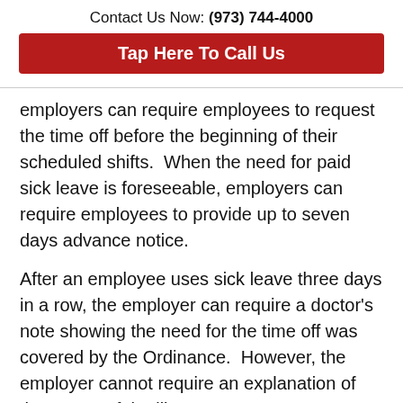Contact Us Now: (973) 744-4000
[Figure (other): Red button reading 'Tap Here To Call Us']
employers can require employees to request the time off before the beginning of their scheduled shifts.  When the need for paid sick leave is foreseeable, employers can require employees to provide up to seven days advance notice.
After an employee uses sick leave three days in a row, the employer can require a doctor’s note showing the need for the time off was covered by the Ordinance.  However, the employer cannot require an explanation of the nature of the illness.